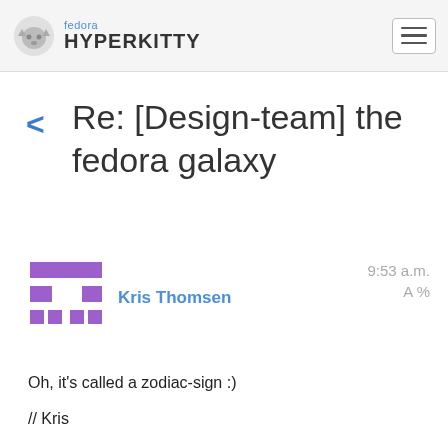fedora HYPERKITTY
Re: [Design-team] the fedora galaxy
Kris Thomsen  9:53 a.m.
Oh, it's called a zodiac-sign :)
// Kris
2009/12/31 Kris Thomsen <lakristho(a)gmail.com&gt;:
...
I've got an idea.
What about making the infinity like a starsign (is it called that in